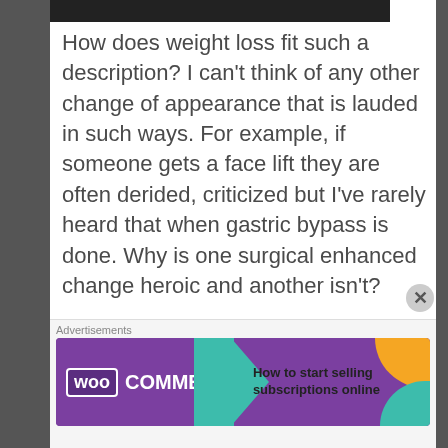[Figure (photo): Dark image bar at top of page]
How does weight loss fit such a description?  I can't think of any other change of appearance that is lauded in such ways.  For example, if someone gets a face lift they are often derided, criticized but I've rarely heard that when gastric bypass is done.  Why is one surgical enhanced change heroic and another isn't?

You could say that gastric bypass is required where a face lift is not? Well, the
Advertisements
[Figure (screenshot): WooCommerce advertisement banner: 'How to start selling subscriptions online']